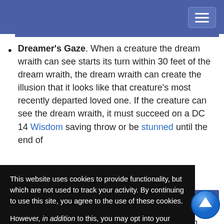Dreamer's Gaze. When a creature the dream wraith can see starts its turn within 30 feet of the dream wraith, the dream wraith can create the illusion that it looks like that creature's most recently departed loved one. If the creature can see the dream wraith, it must succeed on a DC 14 Wisdom saving throw or be stunned until the end of
s an undead is killed while in am wraith then having power ed dream and
This website uses cookies to provide functionality, but which are not used to track your activity. By continuing to use this site, you agree to the use of these cookies.

However, in addition to this, you may opt into your activity being tracked in order to help us improve our service.

For more information, please click here
OK  No, thank you